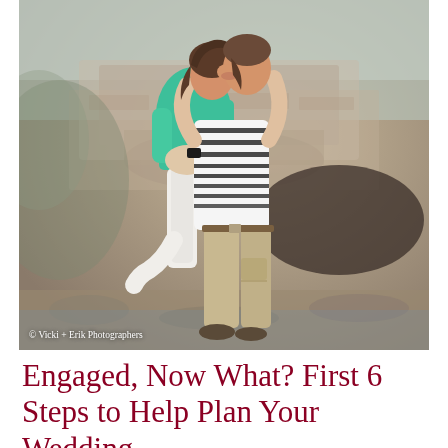[Figure (photo): An engaged couple embracing and kissing outdoors. A woman in a teal/mint top and white pants is being lifted by a man in a striped black-and-white shirt and khaki cargo pants. Stone bridge and blurred background visible. Photo credit: © Vicki + Erik Photographers]
© Vicki + Erik Photographers
Engaged, Now What? First 6 Steps to Help Plan Your Wedding...